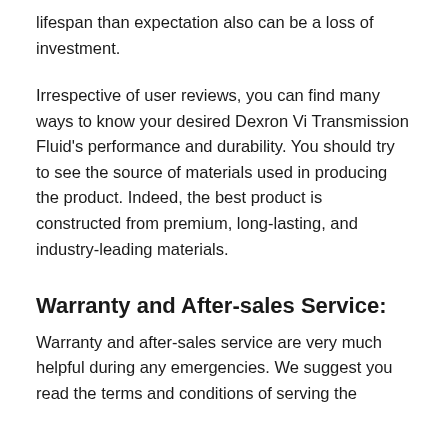lifespan than expectation also can be a loss of investment.
Irrespective of user reviews, you can find many ways to know your desired Dexron Vi Transmission Fluid's performance and durability. You should try to see the source of materials used in producing the product. Indeed, the best product is constructed from premium, long-lasting, and industry-leading materials.
Warranty and After-sales Service:
Warranty and after-sales service are very much helpful during any emergencies. We suggest you read the terms and conditions of serving the